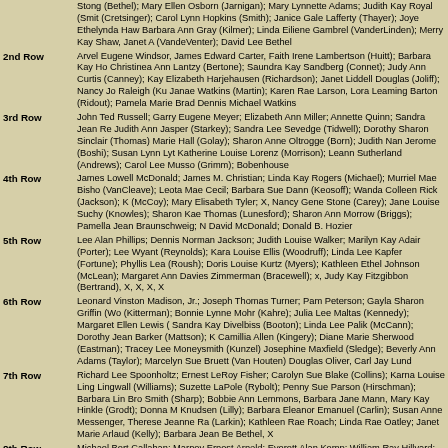Stong (Bethel); Mary Ellen Osborn (Jarnigan); Mary Lynnette Adams; Judith Kay Royal (Smith) (Cretsinger); Carol Lynn Hopkins (Smith); Janice Gale Lafferty (Thayer); Joye Ethelynda Hawl; Barbara Ann Gray (Kilmer); Linda Eiliene Gambrel (VanderLinden); Merry Kay Shaw, Janet A (VandeVenter); David Lee Bethel
2nd Row
Arvel Eugene Windsor, James Edward Carter, Faith Irene Lambertson (Huitt); Barbara Kay Ho; Christinea Ann Lantzy (Bertone); Saundra Kay Sandberg (Connet); Judy Ann Curtis (Canney); Kay Elizabeth Harjehausen (Richardson); Janet Liddell Douglas (Joliff); Nancy Jo Raleigh (Ku; Janae Watkins (Martin); Karen Rae Larson, Lora Leaming Barton (Ridout); Pamela Marie Brad; Dennis Michael Watkins
3rd Row
John Ted Russell; Garry Eugene Meyer; Elizabeth Ann Miller; Annette Quinn; Sandra Jean Re; Judith Ann Jasper (Starkey); Sandra Lee Sevedge (Tidwell); Dorothy Sharon Sinclair (Thomas); Marie Hall (Golay); Sharon Anne Oltrogge (Born); Judith Nan Jerome (Boshi); Susan Lynn Lyt; Katherine Louise Lorenz (Morrison); Leann Sutherland (Andrews); Carol Lee Musso (Grimm); Bobenhouse
4th Row
James Lowell McDonald; James M. Christian; Linda Kay Rogers (Michael); Murriel Mae Bisho (VanCleave); Leota Mae Cecil; Barbara Sue Dann (Keosoff); Wanda Colleen Rick (Jackson); K (McCoy); Mary Elisabeth Tyler; X, Nancy Gene Stone (Carey); Jane Louise Suchy (Knowles); Sharon Kae Thomas (Lunesford); Sharon Ann Morrow (Briggs); Pamella Jean Braunschweig; N David McDonald; Donald B. Hozier
5th Row
Lee Alan Phillips; Dennis Norman Jackson; Judith Louise Walker; Marilyn Kay Adair (Porter); Lee Wyant (Reynolds); Kara Louise Ellis (Woodruff); Linda Lee Kapfer (Fortune); Phyllis Lea (Roush); Doris Louise Kurtz (Myers); Kathleen Ethel Johnson (McLean); Margaret Ann Davies Zimmerman (Bracewell); x, Judy Kay Fitzgibbon (Bertrand), X, X, X, X
6th Row
Leonard Vinston Madison, Jr.; Joseph Thomas Turner; Pam Peterson; Gayla Sharon Griffin (Wo (Kitterman); Bonnie Lynne Mohr (Kahre); Julia Lee Maltas (Kennedy); Margaret Ellen Lewis ( Sandra Kay Divelbiss (Booton); Linda Lee Palik (McCann); Dorothy Jean Barker (Mattson); K Camillia Allen (Kingery); Diane Marie Sherwood (Eastman); Tracey Lee Moneysmith (Kunzel) Josephine Maxfield (Sledge); Beverly Ann Adams (Taylor); Marcelyn Sue Bruett (Van Houten) Douglas Oliver, Carl Jay Lund
7th Row
Richard Lee Spoonholtz; Ernest LeRoy Fisher; Carolyn Sue Blake (Collins); Karna Louise Ling Lingwall (Williams); Suzette LaPole (Rybolt); Penny Sue Parson (Hirschman); Barbara Lin Bro Smith (Sharp); Bobbie Ann Lemmons, Barbara Jane Mann, Mary Kay Hinkle (Grodt); Donna M Knudsen (Lilly); Barbara Eleanor Emanuel (Carlin); Susan Anne Messenger, Therese Jeanne Ra (Larkin); Kathleen Rae Roach; Linda Rae Oatley; Janet Marie Arlaud (Kelly); Barbara Jean Be Bethel, X
8th Row
Michael Bert Callahan; Marney Ernest Arnold; Everett Alan Kemp; William Ray Hillyard; Rich Cervi; Don Frederick Taylor; Timothy Mark Hansen; Jerry Edward Cooper; Frank Gene Steele; Malvin Nolan Duncan; Lawrence Hedgpeth; Imants Papedis; Arlen Floyd Pence; William Josep Lloyd Cecil Grahan, II; James Mark Mincks; Robert Eugene Hamman, II; Gerald Huston; Robe Brown; Michael William Morris
9th Row
James Paul Aycock; Ramon Howard Barron; x, x, x, x, James Arthur Heminover; Arthur Fran